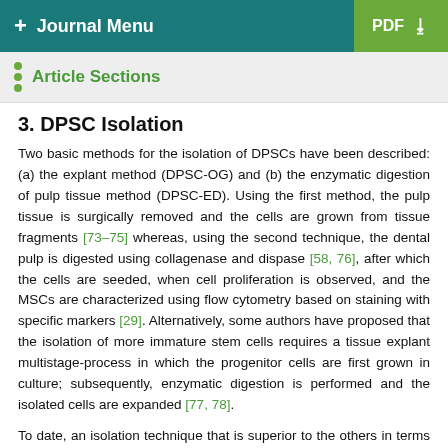+ Journal Menu   PDF ↓
Article Sections
3. DPSC Isolation
Two basic methods for the isolation of DPSCs have been described: (a) the explant method (DPSC-OG) and (b) the enzymatic digestion of pulp tissue method (DPSC-ED). Using the first method, the pulp tissue is surgically removed and the cells are grown from tissue fragments [73–75] whereas, using the second technique, the dental pulp is digested using collagenase and dispase [58, 76], after which the cells are seeded, when cell proliferation is observed, and the MSCs are characterized using flow cytometry based on staining with specific markers [29]. Alternatively, some authors have proposed that the isolation of more immature stem cells requires a tissue explant multistage-process in which the progenitor cells are first grown in culture; subsequently, enzymatic digestion is performed and the isolated cells are expanded [77, 78].
To date, an isolation technique that is superior to the others in terms of proliferative capacity, karyotypic stability, or clinical use